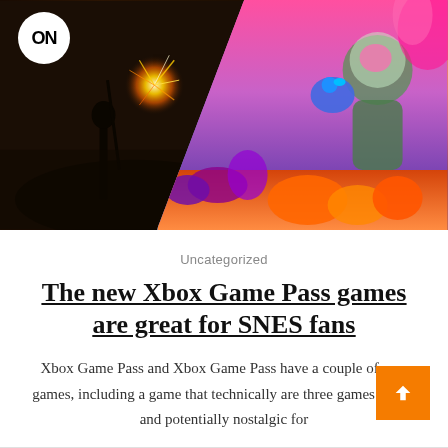[Figure (photo): Hero image showing two video game screenshots side by side in a diagonal split: left side shows a dark, moody action game with a warrior figure and sparks/explosion; right side shows a colorful sci-fi/fantasy game with a character in a space suit holding a blue creature. A circular white logo badge with 'ON' text appears in the top-left corner.]
Uncategorized
The new Xbox Game Pass games are great for SNES fans
Xbox Game Pass and Xbox Game Pass have a couple of new games, including a game that technically are three games in one and potentially nostalgic for